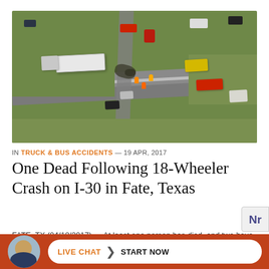[Figure (photo): Aerial view of an 18-wheeler crash on Interstate 30 in Fate, Texas, showing emergency vehicles, a semi-truck with trailer, debris, and multiple responders on the highway.]
IN TRUCK & BUS ACCIDENTS — 19 APR, 2017
One Dead Following 18-Wheeler Crash on I-30 in Fate, Texas
FATE, TX (04/18/2017) — At least one person has died, and two have been hospitalized, following an accident on Interstate 30 invo
[Figure (photo): Live chat widget with attorney avatar, orange background bar, and a white pill-shaped button reading LIVE CHAT > START NOW]